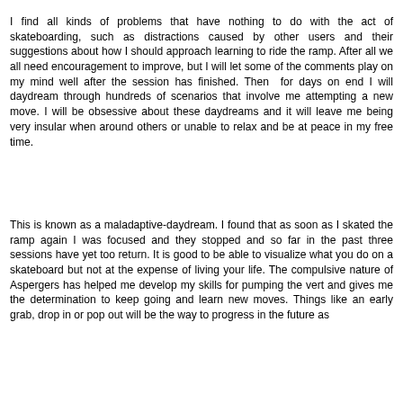I find all kinds of problems that have nothing to do with the act of skateboarding, such as distractions caused by other users and their suggestions about how I should approach learning to ride the ramp. After all we all need encouragement to improve, but I will let some of the comments play on my mind well after the session has finished. Then for days on end I will daydream through hundreds of scenarios that involve me attempting a new move. I will be obsessive about these daydreams and it will leave me being very insular when around others or unable to relax and be at peace in my free time.
This is known as a maladaptive-daydream. I found that as soon as I skated the ramp again I was focused and they stopped and so far in the past three sessions have yet too return. It is good to be able to visualize what you do on a skateboard but not at the expense of living your life. The compulsive nature of Aspergers has helped me develop my skills for pumping the vert and gives me the determination to keep going and learn new moves. Things like an early grab, drop in or pop out will be the way to progress in the future as